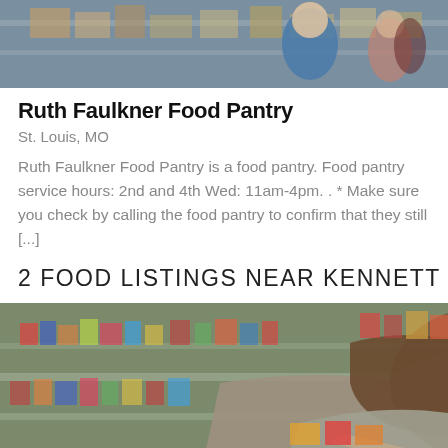[Figure (photo): Photo of food pantry workers/volunteers in a warehouse setting with boxes and shelves]
Ruth Faulkner Food Pantry
St. Louis, MO
Ruth Faulkner Food Pantry is a food pantry. Food pantry service hours: 2nd and 4th Wed: 11am-4pm. . * Make sure you check by calling the food pantry to confirm that they still [...]
2 FOOD LISTINGS NEAR KENNETT
[Figure (photo): Photo of a person leaning over shelves stocked with canned goods and food items at a food pantry]